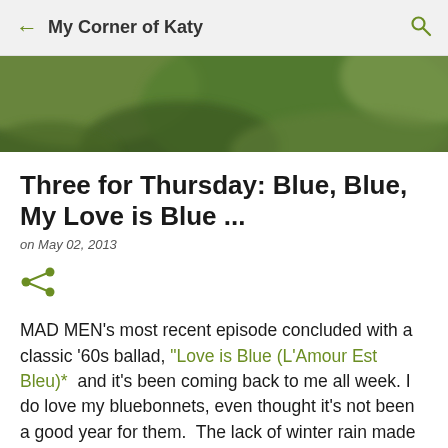My Corner of Katy
[Figure (photo): Blurred green outdoor/nature photograph used as blog post header image]
Three for Thursday: Blue, Blue, My Love is Blue ...
on May 02, 2013
[Figure (other): Share icon (three connected circles)]
MAD MEN's most recent episode concluded with a classic '60s ballad, "Love is Blue (L'Amour Est Bleu)*  and it's been coming back to me all week. I do love my bluebonnets, even thought it's not been a good year for them.  The lack of winter rain made for poor